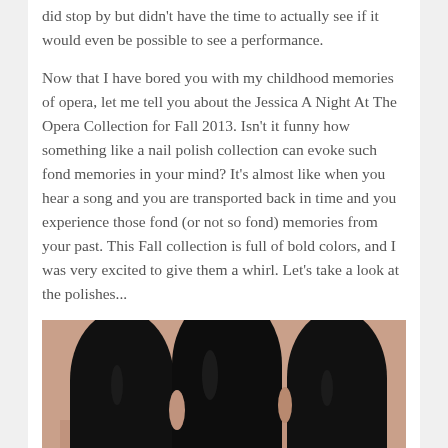did stop by but didn't have the time to actually see if it would even be possible to see a performance.

Now that I have bored you with my childhood memories of opera, let me tell you about the Jessica A Night At The Opera Collection for Fall 2013. Isn't it funny how something like a nail polish collection can evoke such fond memories in your mind? It's almost like when you hear a song and you are transported back in time and you experience those fond (or not so fond) memories from your past. This Fall collection is full of bold colors, and I was very excited to give them a whirl. Let's take a look at the polishes...
[Figure (photo): Close-up photo of fingernails painted with dark black/near-black nail polish, showing the hand from above with skin visible between nails.]